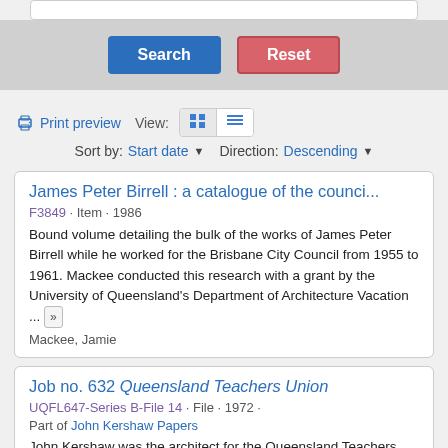[Figure (screenshot): Search interface top bar with white input field]
[Figure (screenshot): Search and Reset buttons on grey background]
Print preview   View:   Sort by: Start date ▼   Direction: Descending ▼
James Peter Birrell : a catalogue of the counci...
F3849 · Item · 1986
Bound volume detailing the bulk of the works of James Peter Birrell while he worked for the Brisbane City Council from 1955 to 1961. Mackee conducted this research with a grant by the University of Queensland's Department of Architecture Vacation ... »
Mackee, Jamie
Job no. 632 Queensland Teachers Union
UQFL647-Series B-File 14 · File · 1972 ·
Part of John Kershaw Papers
John Kershaw was the architect for the Queensland Teachers